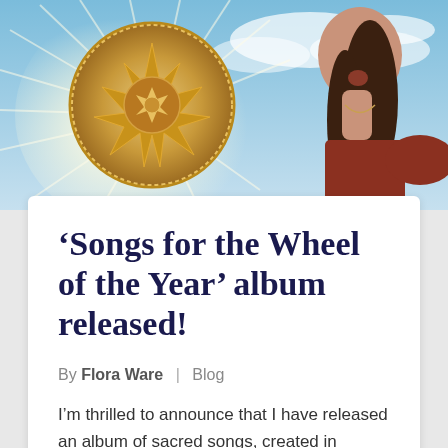[Figure (photo): Hero image showing an ornate mandala/medallion with geometric star pattern glowing with light rays on the left, and a woman with long dark braided hair singing or vocalizing with her head tilted back, against a blue sky background on the right.]
‘Songs for the Wheel of the Year’ album released!
By Flora Ware | Blog
I’m thrilled to announce that I have released an album of sacred songs, created in devotion to nature and the Great Goddess.